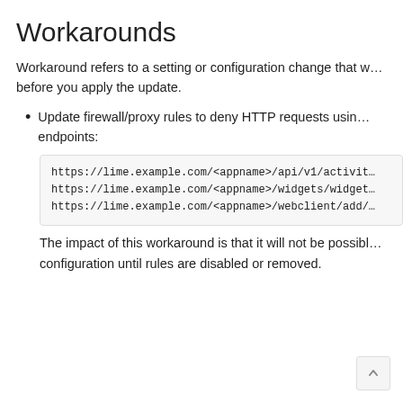Workarounds
Workaround refers to a setting or configuration change that w… before you apply the update.
Update firewall/proxy rules to deny HTTP requests using… endpoints:
https://lime.example.com/<appname>/api/v1/activit…
https://lime.example.com/<appname>/widgets/widget…
https://lime.example.com/<appname>/webclient/add/…
The impact of this workaround is that it will not be possibl… configuration until rules are disabled or removed.